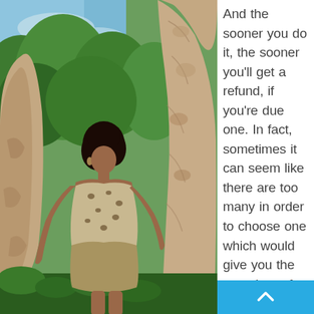[Figure (photo): A young woman with curly black hair wearing a leopard print top and khaki mini skirt, standing between large rocky boulders in a lush green forest setting, looking back over her shoulder.]
And the sooner you do it, the sooner you'll get a refund, if you're due one. In fact, sometimes it can seem like there are too many in order to choose one which would give you the most bang for yo u